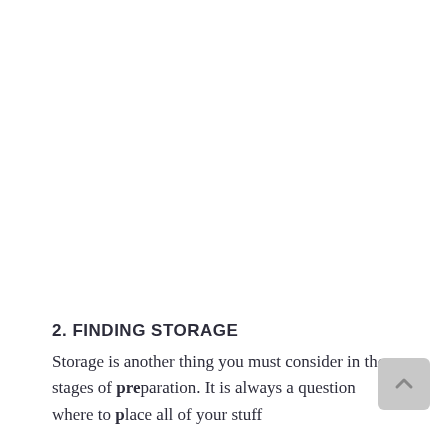2. FINDING STORAGE
Storage is another thing you must consider in the stages of preparation. It is always a question where to place all of your stuff